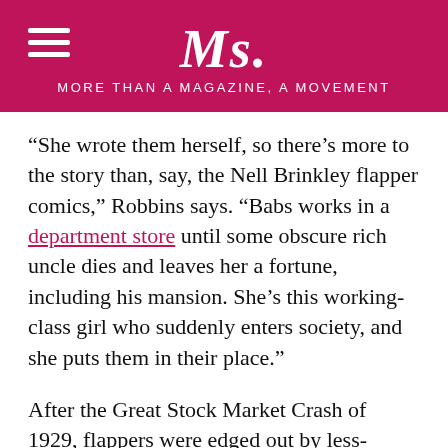Ms. MORE THAN A MAGAZINE, A MOVEMENT
“She wrote them herself, so there’s more to the story than, say, the Nell Brinkley flapper comics,” Robbins says. “Babs works in a department store until some obscure rich uncle dies and leaves her a fortune, including his mansion. She’s this working-class girl who suddenly enters society, and she puts them in their place.”
After the Great Stock Market Crash of 1929, flappers were edged out by less-glamorous characters. In Pretty in Ink, Robbins characterizes Depression cartoons as “poor-but-happy American households; upbeat unflappable orphans; and plucky working girls out to earn a living rather than merely have a good time.” Perhaps the most